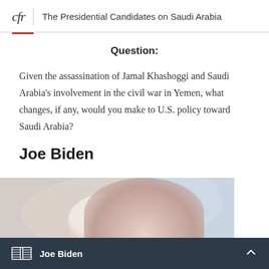cfr | The Presidential Candidates on Saudi Arabia
Question:
Given the assassination of Jamal Khashoggi and Saudi Arabia's involvement in the civil war in Yemen, what changes, if any, would you make to U.S. policy toward Saudi Arabia?
Joe Biden
[Figure (photo): Partial photo of Joe Biden, showing top of head]
Joe Biden